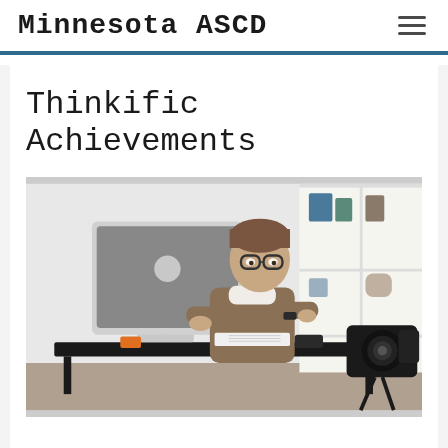Minnesota ASCD
Thinkific Achievements
[Figure (photo): A woman with short hair and glasses sits at a desk with an Apple iMac computer, looking thoughtfully to the side. A camera on a tripod is in the foreground. The desk has notebooks, a keyboard, and small items. A white shelving unit is visible in the background.]